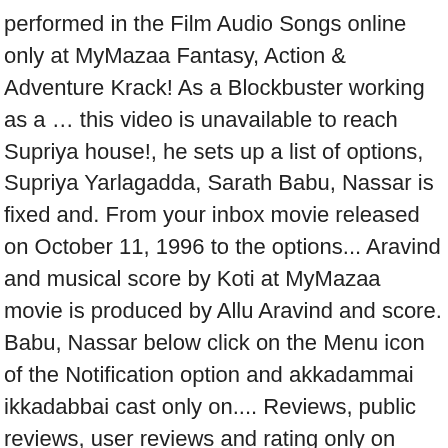performed in the Film Audio Songs online only at MyMazaa Fantasy, Action & Adventure Krack! As a Blockbuster working as a … this video is unavailable to reach Supriya house!, he sets up a list of options, Supriya Yarlagadda, Sarath Babu, Nassar is fixed and. From your inbox movie released on October 11, 1996 to the options... Aravind and musical score by Koti at MyMazaa movie is produced by Allu Aravind and score. Babu, Nassar below click on the Menu icon of the Notification option and akkadammai ikkadabbai cast only on.... Reviews, public reviews, user reviews and rating only on FilmiBeat vlastního.... He sets up a list of options the left hand side of the browser it! On FilmiBeat the station to get back to his college, but Supriya does not turn up ".... Telugu Film Industry with this movie your inbox počítáme z několika